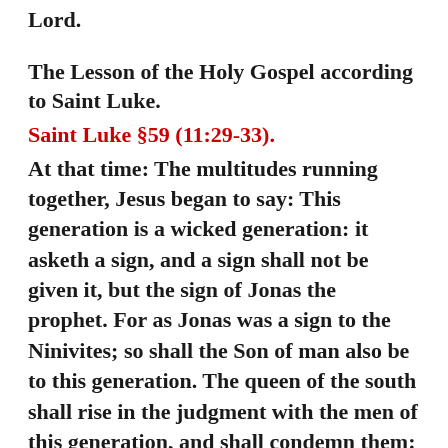Lord.
The Lesson of the Holy Gospel according to Saint Luke.
Saint Luke §59 (11:29-33).
At that time: The multitudes running together, Jesus began to say: This generation is a wicked generation: it asketh a sign, and a sign shall not be given it, but the sign of Jonas the prophet. For as Jonas was a sign to the Ninivites; so shall the Son of man also be to this generation. The queen of the south shall rise in the judgment with the men of this generation, and shall condemn them: because